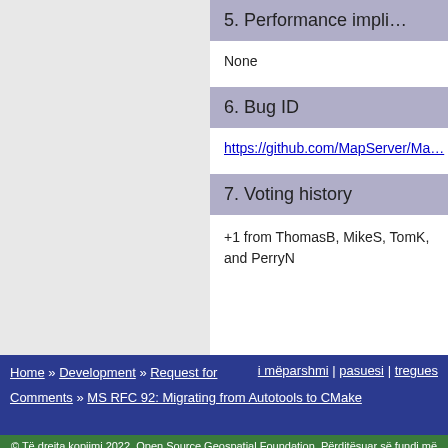5. Performance impli…
None
6. Bug ID
https://github.com/MapServer/Ma…
7. Voting history
+1 from ThomasB, MikeS, TomK, and PerryN
Home » Development » Request for Comments » MS RFC 92: Migrating from Autotools to CMake | i mëparshmi | pasuesi | tregues
© Të drejta kopjimi 2022, Open Source Geospatial Foundation. Përditësuar së fundi më 2022-05-20. Krijuar duke përdorur Sphinx 4.5.0.